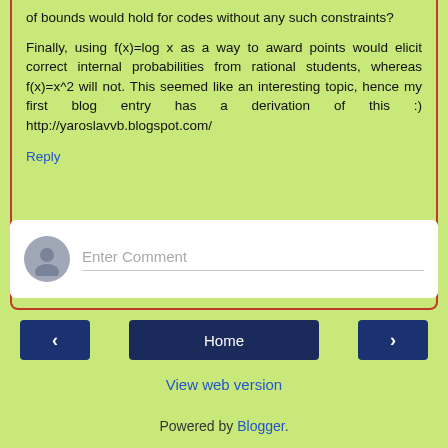of bounds would hold for codes without any such constraints?
Finally, using f(x)=log x as a way to award points would elicit correct internal probabilities from rational students, whereas f(x)=x^2 will not. This seemed like an interesting topic, hence my first blog entry has a derivation of this :) http://yaroslavvb.blogspot.com/
Reply
[Figure (other): Enter Comment input area with user avatar icon]
[Figure (other): Navigation bar with back arrow, Home button, and forward arrow]
View web version
Powered by Blogger.